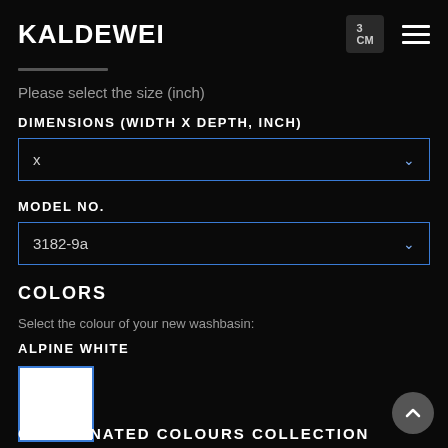KALDEWEI
Please select the size (inch)
DIMENSIONS (WIDTH X DEPTH, INCH)
x
MODEL NO.
3182-9a
COLORS
Select the colour of your new washbasin:
ALPINE WHITE
[Figure (other): White color swatch with blue border]
COORDINATED COLOURS COLLECTION